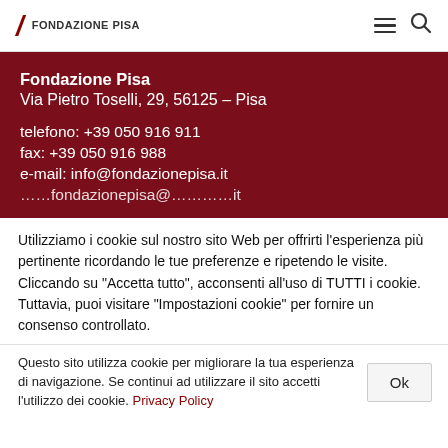Fondazione Pisa [logo with nav icons]
Fondazione Pisa
Via Pietro Toselli, 29, 56125 – Pisa

telefono: +39 050 916 911
fax: +39 050 916 988
e-mail: info@fondazionepisa.it
Utilizziamo i cookie sul nostro sito Web per offrirti l'esperienza più pertinente ricordando le tue preferenze e ripetendo le visite. Cliccando su "Accetta tutto", acconsenti all'uso di TUTTI i cookie. Tuttavia, puoi visitare "Impostazioni cookie" per fornire un consenso controllato.
Questo sito utilizza cookie per migliorare la tua esperienza di navigazione. Se continui ad utilizzare il sito accetti l'utilizzo dei cookie. Privacy Policy